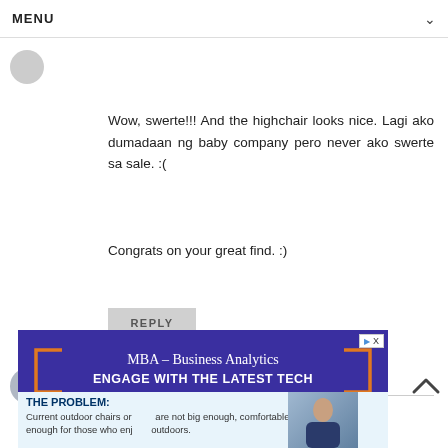MENU
Wow, swerte!!! And the highchair looks nice. Lagi ako dumadaan ng baby company pero never ako swerte sa sale. :(

Congrats on your great find. :)
REPLY
Enter Comment
[Figure (screenshot): Advertisement banner for MBA Business Analytics program with text 'MBA – Business Analytics ENGAGE WITH THE LATEST TECH' and 'THE PROBLEM: Current outdoor chairs or... are not big enough, comfortable enough for those who enjoy outdoors.']